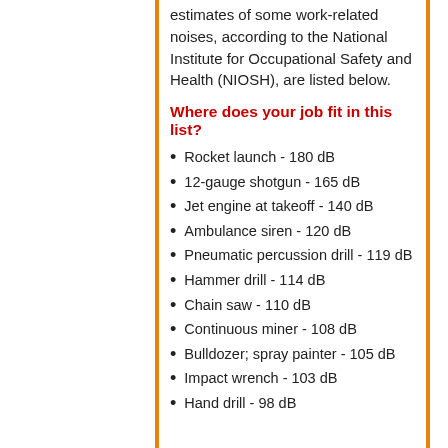estimates of some work-related noises, according to the National Institute for Occupational Safety and Health (NIOSH), are listed below.
Where does your job fit in this list?
Rocket launch - 180 dB
12-gauge shotgun - 165 dB
Jet engine at takeoff - 140 dB
Ambulance siren - 120 dB
Pneumatic percussion drill - 119 dB
Hammer drill - 114 dB
Chain saw - 110 dB
Continuous miner - 108 dB
Bulldozer; spray painter - 105 dB
Impact wrench - 103 dB
Hand drill - 98 dB